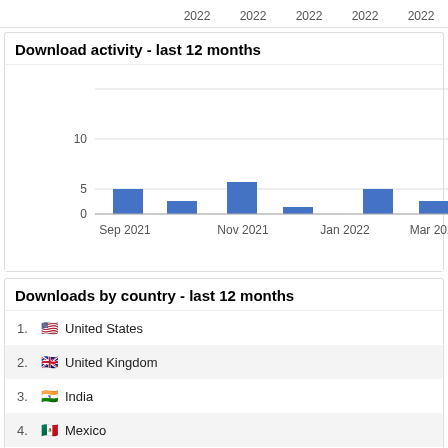2022  2022  2022  2022  2022
Download activity - last 12 months
[Figure (bar-chart): Download activity - last 12 months]
Downloads by country - last 12 months
1.  United States
2.  United Kingdom
3.  India
4.  Mexico
5.  Korea, Republic of